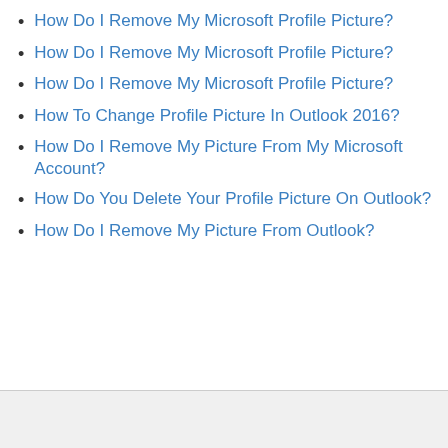How Do I Remove My Microsoft Profile Picture?
How Do I Remove My Microsoft Profile Picture?
How Do I Remove My Microsoft Profile Picture?
How To Change Profile Picture In Outlook 2016?
How Do I Remove My Picture From My Microsoft Account?
How Do You Delete Your Profile Picture On Outlook?
How Do I Remove My Picture From Outlook?